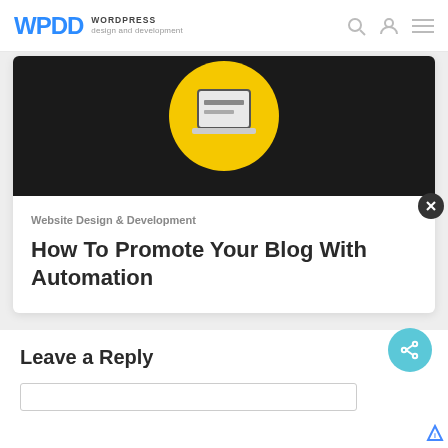WPDD WORDPRESS design and development
[Figure (illustration): Dark background with a yellow circle containing a laptop/screen icon illustration]
Website Design & Development
How To Promote Your Blog With Automation
Leave a Reply